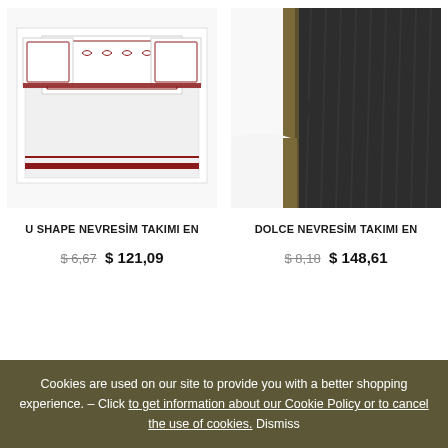[Figure (photo): White bedding set with red embroidered chain pattern on pillows and duvet - U Shape Nevresim Takimi]
U SHAPE NEVRESİM TAKIMI EN
$ 6,67  $ 121,09
[Figure (photo): White and dark charcoal/black bedding set with olive/tan stripe accent - Dolce Nevresim Takimi]
DOLCE NEVRESİM TAKIMI EN
$ 8,18  $ 148,61
Cookies are used on our site to provide you with a better shopping experience. – Click to get information about our Cookie Policy or to cancel the use of cookies. Dismiss